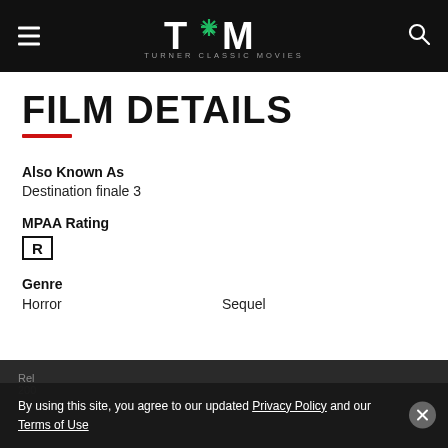TCM — Turner Classic Movies
FILM DETAILS
Also Known As
Destination finale 3
MPAA Rating
R
Genre
Horror    Sequel
Rel  2006
By using this site, you agree to our updated Privacy Policy and our Terms of Use